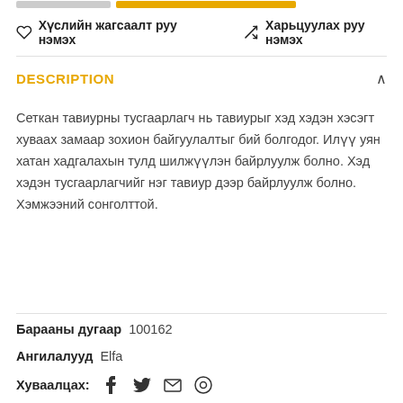Хүслийн жагсаалт руу нэмэх   Харьцуулах руу нэмэх
DESCRIPTION
Сеткан тавиурны тусгаарлагч нь тавиурыг хэд хэдэн хэсэгт хуваах замаар зохион байгуулалтыг бий болгодог. Илүү уян хатан хадгалахын тулд шилжүүлэн байрлуулж болно. Хэд хэдэн тусгаарлагчийг нэг тавиур дээр байрлуулж болно. Хэмжээний сонголттой.
Барааны дугаар 100162
Ангилалууд Elfa
Хуваалцах: f 🐦 ✉ ⊕